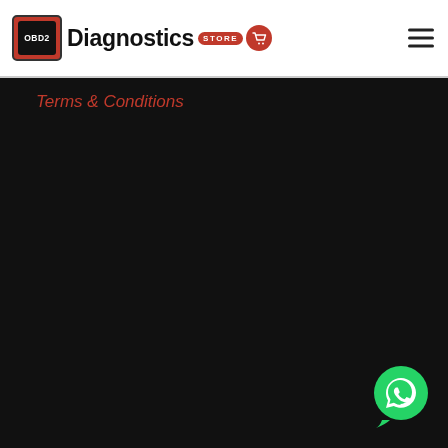[Figure (logo): OBD2 Diagnostics Store logo with red OBD2 box icon, bold Diagnostics text, red STORE badge, and shopping cart circle]
[Figure (other): Hamburger menu icon (three horizontal lines) in top right corner]
Terms & Conditions
[Figure (other): WhatsApp contact button - green circle with WhatsApp phone icon in bottom right corner]